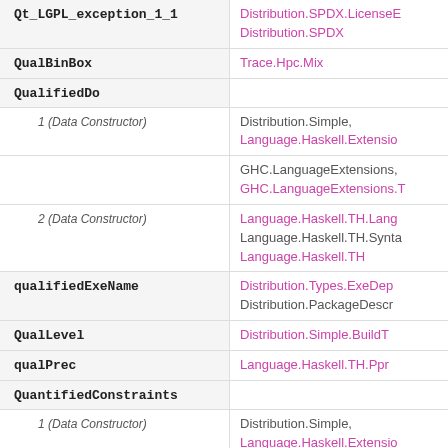Qt_LGPL_exception_1_1 | Distribution.SPDX.LicenseE, Distribution.SPDX
QualBinBox | Trace.Hpc.Mix
QualifiedDo
1 (Data Constructor) | Distribution.Simple, Language.Haskell.Extensio
GHC.LanguageExtensions, GHC.LanguageExtensions.T
2 (Data Constructor) | Language.Haskell.TH.Lang
Language.Haskell.TH.Synta, Language.Haskell.TH
qualifiedExeName | Distribution.Types.ExeDep, Distribution.PackageDescr
QualLevel | Distribution.Simple.BuildT
qualPrec | Language.Haskell.TH.Ppr
QuantifiedConstraints
1 (Data Constructor) | Distribution.Simple, Language.Haskell.Extensio
GHC.LanguageExtensions, GHC.LanguageExtensions.T